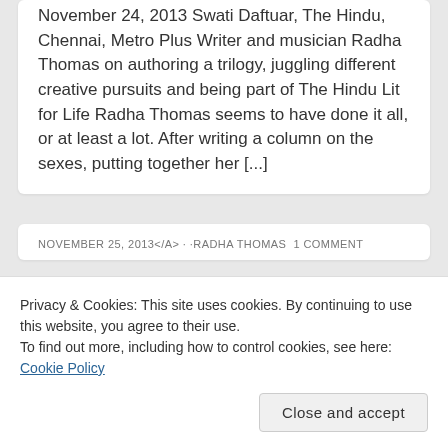November 24, 2013 Swati Daftuar, The Hindu, Chennai, Metro Plus Writer and musician Radha Thomas on authoring a trilogy, juggling different creative pursuits and being part of The Hindu Lit for Life Radha Thomas seems to have done it all, or at least a lot. After writing a column on the sexes, putting together her [...]
NOVEMBER 25, 2013</A · ·RADHA THOMAS 1 COMMENT
Privacy & Cookies: This site uses cookies. By continuing to use this website, you agree to their use.
To find out more, including how to control cookies, see here: Cookie Policy
Close and accept